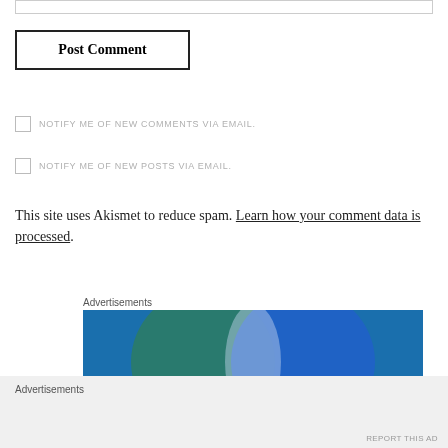[input bar]
Post Comment
NOTIFY ME OF NEW COMMENTS VIA EMAIL.
NOTIFY ME OF NEW POSTS VIA EMAIL.
This site uses Akismet to reduce spam. Learn how your comment data is processed.
Advertisements
[Figure (illustration): Advertisement banner with two overlapping circles (green-teal and blue) on a blue background, with partial text 'Everything' and 'Anything' visible at the bottom]
[Figure (other): Close button (circled X) in bottom right corner]
Advertisements
REPORT THIS AD